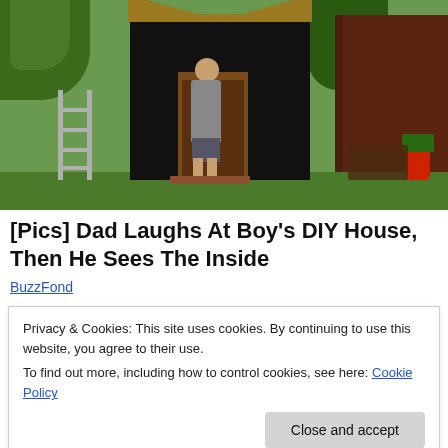[Figure (photo): A boy standing in the doorway of a DIY shed covered in black material, in a backyard with green grass, trees, a wooden fence, and a ladder visible to the left.]
[Pics] Dad Laughs At Boy's DIY House, Then He Sees The Inside
BuzzFond
Privacy & Cookies: This site uses cookies. By continuing to use this website, you agree to their use.
To find out more, including how to control cookies, see here: Cookie Policy
can't save my draft: please